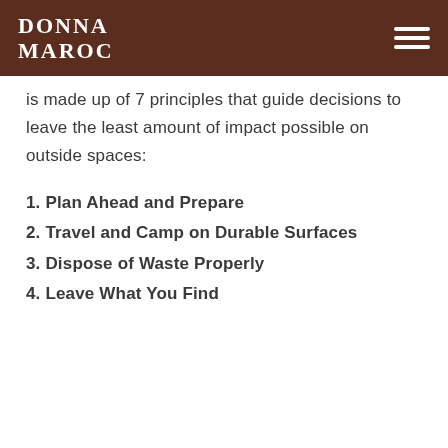DONNA MAROC
is made up of 7 principles that guide decisions to leave the least amount of impact possible on outside spaces:
1. Plan Ahead and Prepare
2. Travel and Camp on Durable Surfaces
3. Dispose of Waste Properly
4. Leave What You Find